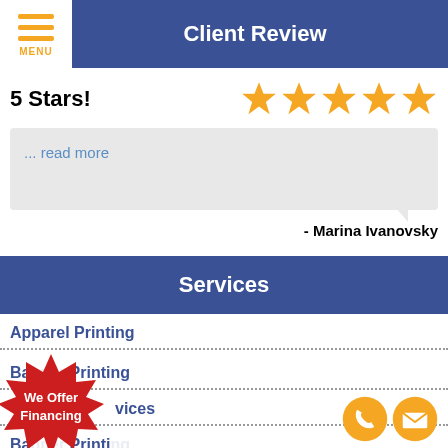Client Review
5 Stars!
... read more
- Marina Ivanovsky
Services
Apparel Printing
Ba... Printing
...vices
Ba... Printi...
[Figure (infographic): Red starburst badge with text 'We Offer Financing']
[Figure (infographic): Two orange circular contact icons: phone and email]